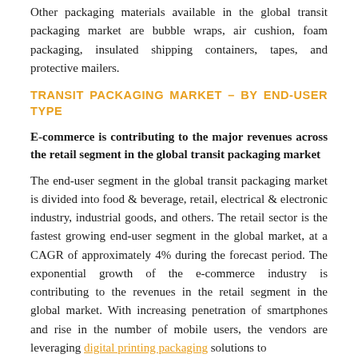Other packaging materials available in the global transit packaging market are bubble wraps, air cushion, foam packaging, insulated shipping containers, tapes, and protective mailers.
TRANSIT PACKAGING MARKET – BY END-USER TYPE
E-commerce is contributing to the major revenues across the retail segment in the global transit packaging market
The end-user segment in the global transit packaging market is divided into food & beverage, retail, electrical & electronic industry, industrial goods, and others. The retail sector is the fastest growing end-user segment in the global market, at a CAGR of approximately 4% during the forecast period. The exponential growth of the e-commerce industry is contributing to the revenues in the retail segment in the global market. With increasing penetration of smartphones and rise in the number of mobile users, the vendors are leveraging digital printing packaging solutions to